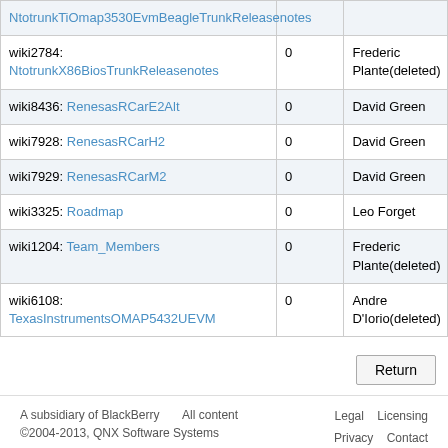| Name | Count | Author |
| --- | --- | --- |
| wiki2784: NtotrunkX86BiosTrunkReleasenotes | 0 | Frederic Plante(deleted) |
| wiki8436: RenesasRCarE2Alt | 0 | David Green |
| wiki7928: RenesasRCarH2 | 0 | David Green |
| wiki7929: RenesasRCarM2 | 0 | David Green |
| wiki3325: Roadmap | 0 | Leo Forget |
| wiki1204: Team_Members | 0 | Frederic Plante(deleted) |
| wiki6108: TexasInstrumentsOMAP5432UEVM | 0 | Andre D'Iorio(deleted) |
Return
A subsidiary of BlackBerry All content ©2004-2013, QNX Software Systems   Legal Licensing Privacy Contact